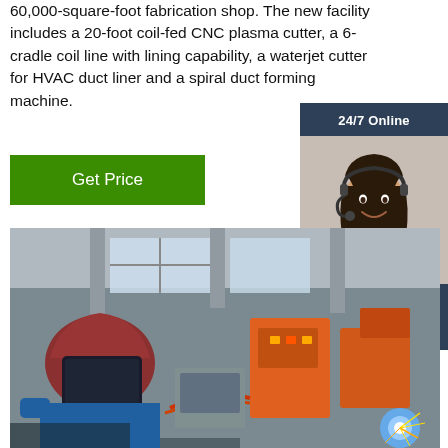60,000-square-foot fabrication shop. The new facility includes a 20-foot coil-fed CNC plasma cutter, a 6-cradle coil line with lining capability, a waterjet cutter for HVAC duct liner and a spiral duct forming machine.
Get Price
[Figure (photo): Customer service representative (woman with headset, smiling) with '24/7 Online' header, 'Click here for free chat!' text and 'QUOTATION' orange button on dark blue sidebar panel]
[Figure (photo): Factory floor showing workers welding and fabricating metal equipment, industrial machinery visible in background]